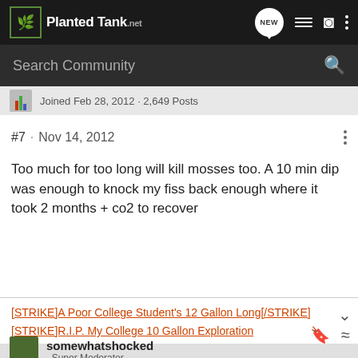PlantedTank
Search Community
Joined Feb 28, 2012 · 2,649 Posts
#7 · Nov 14, 2012
Too much for too long will kill mosses too. A 10 min dip was enough to knock my fiss back enough where it took 2 months + co2 to recover
[STRIKE]A Poor College Student's 12 Gallon Long[/STRIKE]
[STRIKE]R.I.P. My College 10 Gallon Exploration x3[/STRIKE]
somewhatshocked · Super Moderator